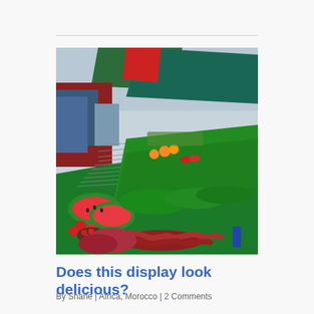[Figure (photo): A colorful market food display in Morocco, showing an outdoor stall with abundant fresh produce including watermelon slices, herbs, tomatoes, sausages, meat, and skewered items arranged on a counter under green awnings, with vendors and customers in the background.]
Does this display look delicious?
By Shane | Africa, Morocco | 2 Comments